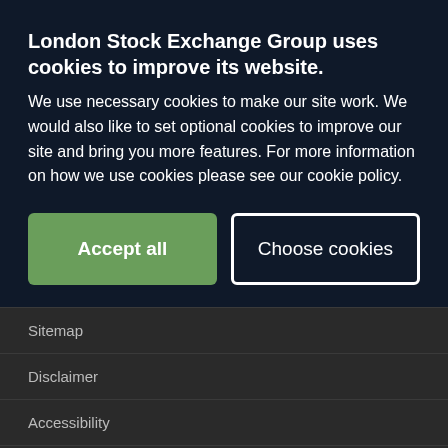London Stock Exchange Group uses cookies to improve its website.
We use necessary cookies to make our site work. We would also like to set optional cookies to improve our site and bring you more features. For more information on how we use cookies please see our cookie policy.
Sitemap
Disclaimer
Accessibility
Code of Conduct
Whistleblowing
hery Act